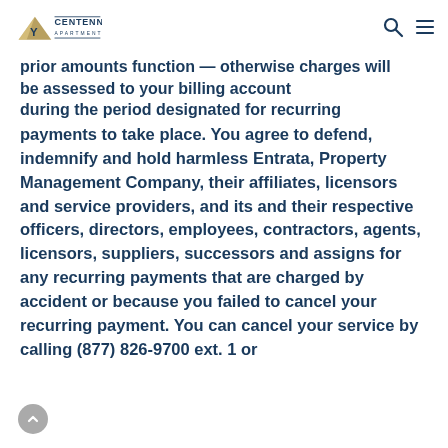Centennial Apartments
prior amounts function — otherwise charges will be assessed to your billing account during the period designated for recurring payments to take place. You agree to defend, indemnify and hold harmless Entrata, Property Management Company, their affiliates, licensors and service providers, and its and their respective officers, directors, employees, contractors, agents, licensors, suppliers, successors and assigns for any recurring payments that are charged by accident or because you failed to cancel your recurring payment. You can cancel your service by calling (877) 826-9700 ext. 1 or